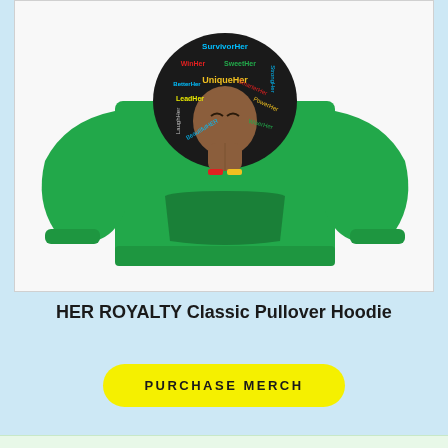[Figure (photo): Green pullover hoodie featuring a Black woman with an afro hairstyle with empowerment words (SurvivorHer, WinHer, SweetHer, UniqueHer, BetterHer, LeadHer, BeautifulHer, SmarterHer, WiserHer, StrongHer, etc.) in colorful text within the afro. The woman has her hands pressed together in prayer pose. The hoodie has a front kangaroo pocket.]
HER ROYALTY Classic Pullover Hoodie
PURCHASE MERCH